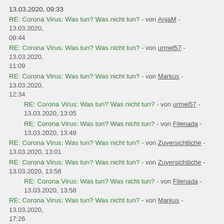13.03.2020, 09:33
RE: Corona Virus: Was tun? Was nicht tun? - von AnjaM - 13.03.2020, 09:44
RE: Corona Virus: Was tun? Was nicht tun? - von urmel57 - 13.03.2020, 11:09
RE: Corona Virus: Was tun? Was nicht tun? - von Markus - 13.03.2020, 12:34
RE: Corona Virus: Was tun? Was nicht tun? - von urmel57 - 13.03.2020, 13:05
RE: Corona Virus: Was tun? Was nicht tun? - von Filenada - 13.03.2020, 13:49
RE: Corona Virus: Was tun? Was nicht tun? - von Zuversichtliche - 13.03.2020, 13:01
RE: Corona Virus: Was tun? Was nicht tun? - von Zuversichtliche - 13.03.2020, 13:56
RE: Corona Virus: Was tun? Was nicht tun? - von Filenada - 13.03.2020, 13:58
RE: Corona Virus: Was tun? Was nicht tun? - von Markus - 13.03.2020, 17:26
RE: Corona Virus: Was tun? Was nicht tun? - von Markus - 13.03.2020, 18:44
RE: Corona Virus: Was tun? Was nicht tun? - von Zotti - 13.03.2020, 21:54